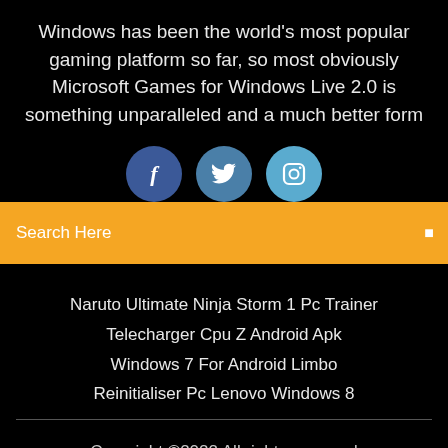Windows has been the world's most popular gaming platform so far, so most obviously Microsoft Games for Windows Live 2.0 is something unparalleled and a much better form
[Figure (infographic): Three social media icon circles: Facebook (dark blue), Twitter (medium blue), Instagram (light blue), partially overlapping an orange search bar below]
Search Here
Naruto Ultimate Ninja Storm 1 Pc Trainer
Telecharger Cpu Z Android Apk
Windows 7 For Android Limbo
Reinitialiser Pc Lenovo Windows 8
Copyright ©2022 All rights reserved